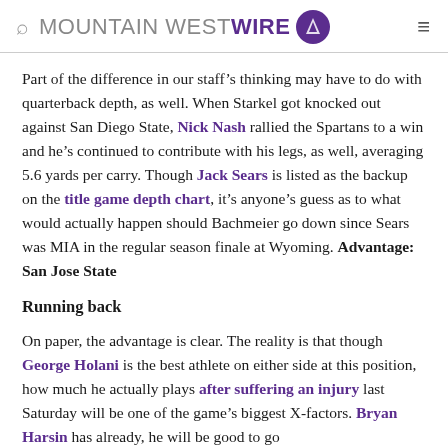MOUNTAIN WEST WIRE
Part of the difference in our staff’s thinking may have to do with quarterback depth, as well. When Starkel got knocked out against San Diego State, Nick Nash rallied the Spartans to a win and he’s continued to contribute with his legs, as well, averaging 5.6 yards per carry. Though Jack Sears is listed as the backup on the title game depth chart, it’s anyone’s guess as to what would actually happen should Bachmeier go down since Sears was MIA in the regular season finale at Wyoming. Advantage: San Jose State
Running back
On paper, the advantage is clear. The reality is that though George Holani is the best athlete on either side at this position, how much he actually plays after suffering an injury last Saturday will be one of the game’s biggest X-factors. Bryan Harsin has already, he will be good to go